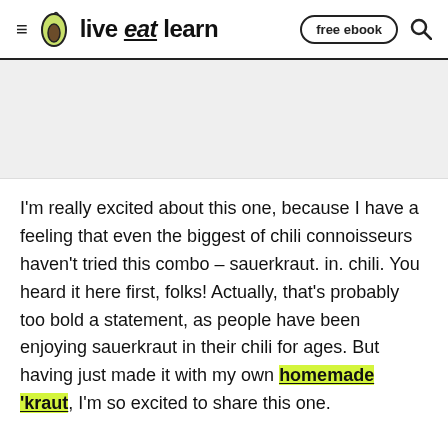live eat learn — free ebook
[Figure (other): Advertisement placeholder area, light gray background]
I'm really excited about this one, because I have a feeling that even the biggest of chili connoisseurs haven't tried this combo – sauerkraut. in. chili. You heard it here first, folks! Actually, that's probably too bold a statement, as people have been enjoying sauerkraut in their chili for ages. But having just made it with my own homemade 'kraut, I'm so excited to share this one.